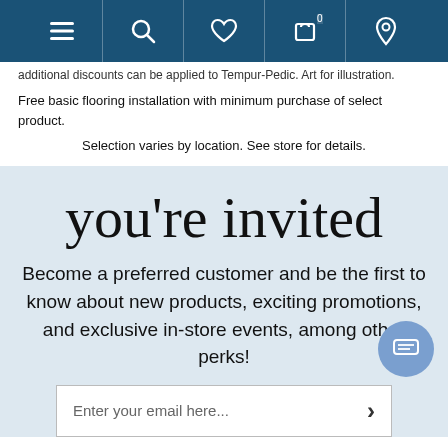Navigation bar with menu, search, wishlist, cart (0), and location icons
additional discounts can be applied to Tempur-Pedic. Art for illustration.
Free basic flooring installation with minimum purchase of select product.
Selection varies by location. See store for details.
you're invited
Become a preferred customer and be the first to know about new products, exciting promotions, and exclusive in-store events, among other perks!
Enter your email here...